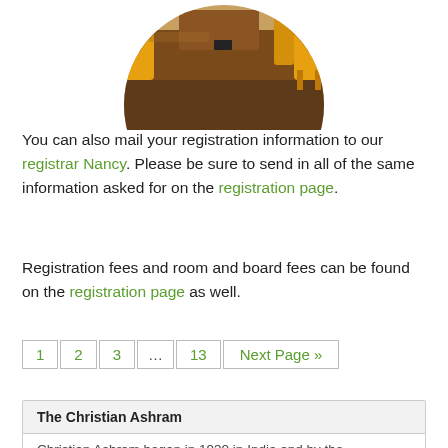[Figure (photo): Circular-cropped photo of a dining room with brown wooden tables and yellow/orange chairs on a patterned floor.]
You can also mail your registration information to our registrar Nancy. Please be sure to send in all of the same information asked for on the registration page.
Registration fees and room and board fees can be found on the registration page as well.
1
2
3
...
13
Next Page »
The Christian Ashram
Christian Ashram began in 1930 in India and by the...